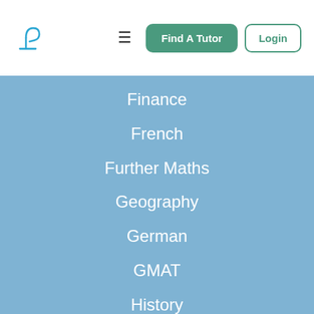Tutor platform navigation header with logo, hamburger menu, Find A Tutor button, and Login button
Finance
French
Further Maths
Geography
German
GMAT
History
IELTS